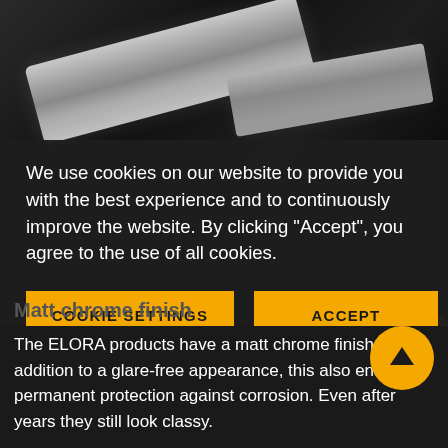[Figure (photo): Dark background photo of chrome-finished hand tools (wrenches/pliers) on a black surface]
We use cookies on our website to provide you with the best experience and to continuously improve the website. By clicking "Accept", you agree to the use of all cookies.
COOKIE SETTINGS
ACCEPT
Privacy Policy   Imprint
Matt chrome finish
The ELORA products have a matt chrome finish. In addition to a glare-free appearance, this also ensures permanent protection against corrosion. Even after years they still look classy.